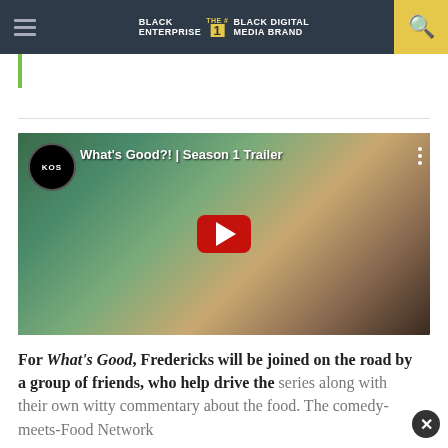BLACK ENTERPRISE THE #1 BLACK DIGITAL MEDIA BRAND
[Figure (screenshot): YouTube video thumbnail showing two men outdoors with title 'What's Good?! | Season 1 Trailer' and KOS channel logo, red YouTube play button overlay]
For What's Good, Fredericks will be joined on the road by a group of friends, who help drive the series along with their own witty commentary about the food. The comedy-meets-Food Network